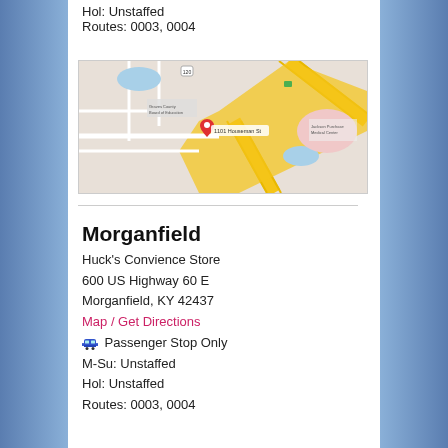Hol: Unstaffed
Routes: 0003, 0004
[Figure (map): Google Maps showing location at 1101 Houseman St, with surrounding streets, Graves County Board of Education, Jackson Purchase Medical Center, and major highways (including a yellow diagonal road)]
Morganfield
Huck's Convience Store
600 US Highway 60 E
Morganfield, KY 42437
Map / Get Directions
Passenger Stop Only
M-Su: Unstaffed
Hol: Unstaffed
Routes: 0003, 0004